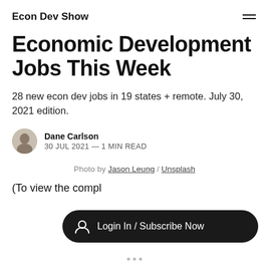Econ Dev Show
Economic Development Jobs This Week
28 new econ dev jobs in 19 states + remote. July 30, 2021 edition.
Dane Carlson
30 JUL 2021 — 1 MIN READ
Photo by Jason Leung / Unsplash
(To view the compl
Login In / Subscribe Now